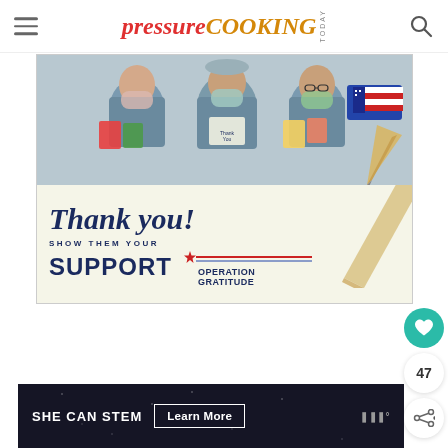pressure COOKING TODAY
[Figure (photo): Three healthcare workers in scrubs and masks holding thank-you cards, with Operation Gratitude 'Thank you! Show them your Support' promotional image overlay]
47
[Figure (infographic): SHE CAN STEM advertisement banner with Learn More button on dark background]